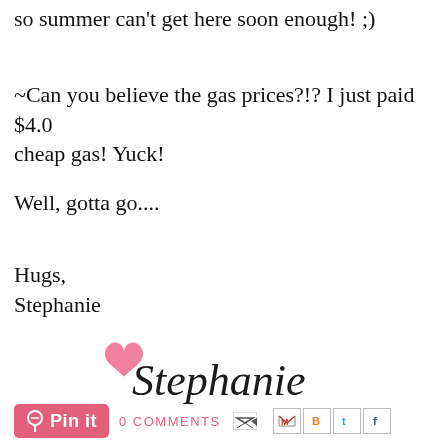so summer can't get here soon enough! ;)
~Can you believe the gas prices?!? I just paid $4.0... cheap gas! Yuck!
Well, gotta go....
Hugs,
Stephanie
[Figure (illustration): Handwritten signature 'Stephanie' with a pink heart, styled as a blog sign-off image]
[Figure (infographic): Pinterest 'Pin it' button followed by '0 COMMENTS' text and social share icons (email, Gmail, Blogger, Twitter, Facebook)]